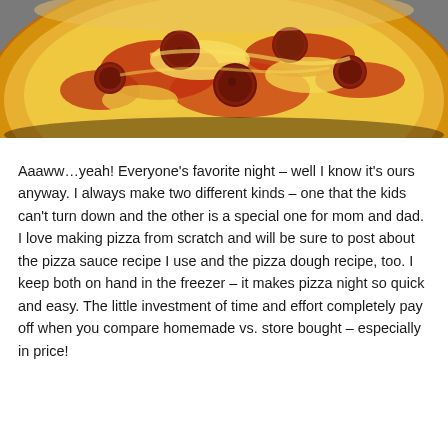[Figure (photo): Close-up photograph of a pepperoni pizza with melted cheese, tomato sauce, and golden-brown crust on a dark background]
Aaaww…yeah! Everyone's favorite night – well I know it's ours anyway. I always make two different kinds – one that the kids can't turn down and the other is a special one for mom and dad. I love making pizza from scratch and will be sure to post about the pizza sauce recipe I use and the pizza dough recipe, too. I keep both on hand in the freezer – it makes pizza night so quick and easy. The little investment of time and effort completely pay off when you compare homemade vs. store bought – especially in price!